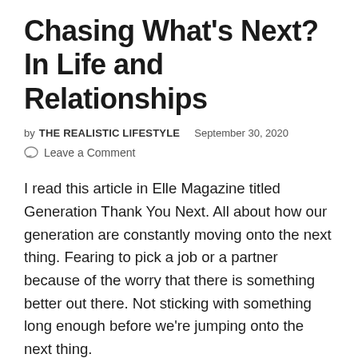Chasing What's Next? In Life and Relationships
by THE REALISTIC LIFESTYLE   September 30, 2020
Leave a Comment
I read this article in Elle Magazine titled Generation Thank You Next. All about how our generation are constantly moving onto the next thing. Fearing to pick a job or a partner because of the worry that there is something better out there. Not sticking with something long enough before we're jumping onto the next thing.
It got me thinking how true this article was, safe to say  it resonated with me.. A lot. I do feel like I'm